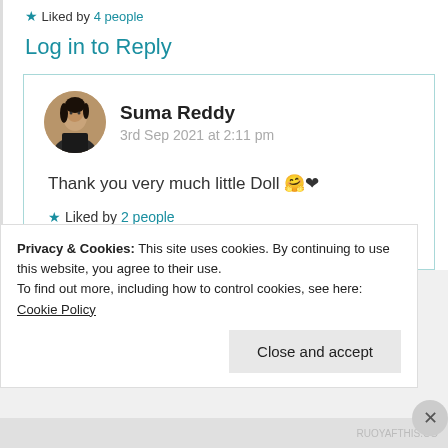★ Liked by 4 people
Log in to Reply
[Figure (photo): Circular avatar photo of Suma Reddy, a woman with dark hair wearing a dark jacket]
Suma Reddy
3rd Sep 2021 at 2:11 pm
Thank you very much little Doll 🤗❤
★ Liked by 2 people
Log in to Reply
Privacy & Cookies: This site uses cookies. By continuing to use this website, you agree to their use.
To find out more, including how to control cookies, see here: Cookie Policy
Close and accept